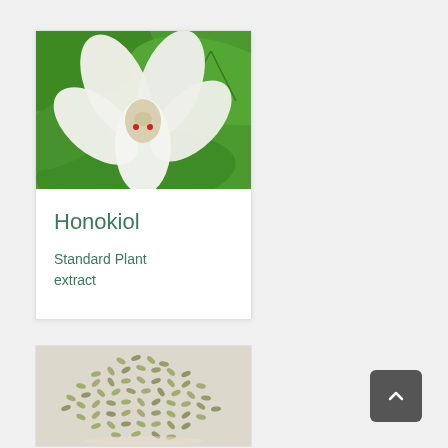[Figure (photo): White magnolia flower with large green leaves, viewed close-up. The flower has white petals with small red accents at the center.]
Honokiol
Standard Plant extract
[Figure (photo): A pile of small dried green seeds or plant material on a white background.]